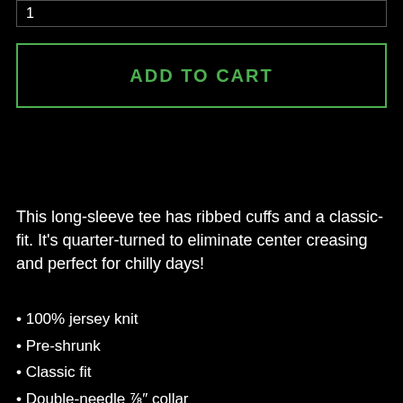1
ADD TO CART
This long-sleeve tee has ribbed cuffs and a classic-fit. It's quarter-turned to eliminate center creasing and perfect for chilly days!
100% jersey knit
Pre-shrunk
Classic fit
Double-needle ⅞″ collar
Taped neck and shoulders